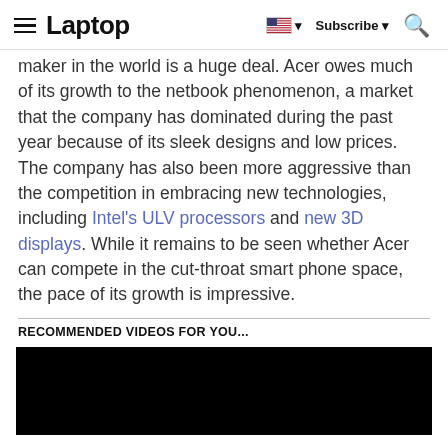Laptop | Subscribe | Search
maker in the world is a huge deal. Acer owes much of its growth to the netbook phenomenon, a market that the company has dominated during the past year because of its sleek designs and low prices. The company has also been more aggressive than the competition in embracing new technologies, including Intel's ULV processors and new 3D displays. While it remains to be seen whether Acer can compete in the cut-throat smart phone space, the pace of its growth is impressive.
RECOMMENDED VIDEOS FOR YOU...
[Figure (other): Black video player area]